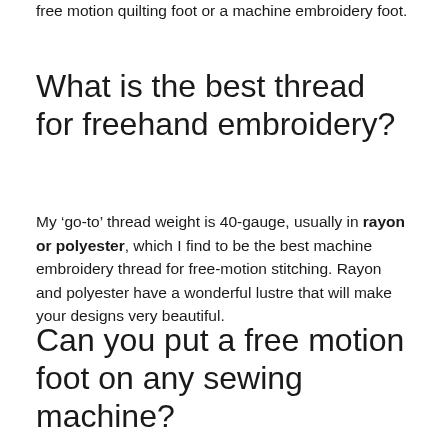free motion quilting foot or a machine embroidery foot.
What is the best thread for freehand embroidery?
My ‘go-to’ thread weight is 40-gauge, usually in rayon or polyester, which I find to be the best machine embroidery thread for free-motion stitching. Rayon and polyester have a wonderful lustre that will make your designs very beautiful.
Can you put a free motion foot on any sewing machine?